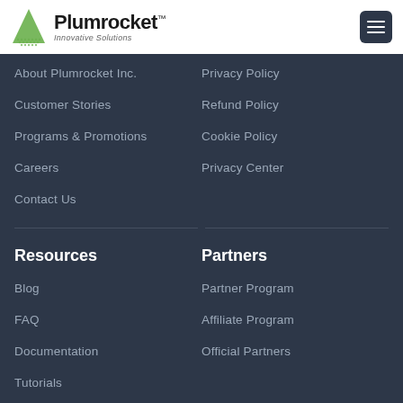Plumrocket™ Innovative Solutions
About Plumrocket Inc.
Customer Stories
Programs & Promotions
Careers
Contact Us
Privacy Policy
Refund Policy
Cookie Policy
Privacy Center
Resources
Partners
Blog
FAQ
Documentation
Tutorials
Partner Program
Affiliate Program
Official Partners